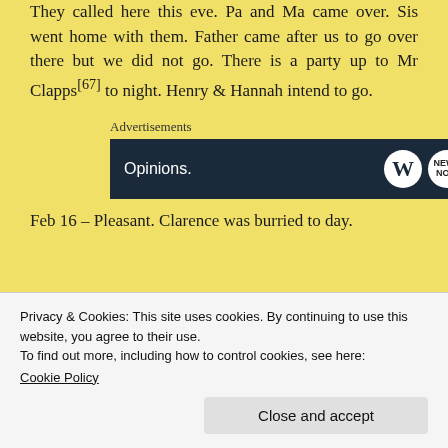They called here this eve. Pa and Ma came over. Sis went home with them. Father came after us to go over there but we did not go. There is a party up to Mr Clapps[67] to night. Henry & Hannah intend to go.
Advertisements
[Figure (screenshot): Advertisement banner with dark navy background showing 'Opinions.' text in white on left and WordPress logo (W in circle) and another circular logo on the right]
Feb 16 – Pleasant. Clarence was burried to day.
Privacy & Cookies: This site uses cookies. By continuing to use this website, you agree to their use.
To find out more, including how to control cookies, see here:
Cookie Policy
Close and accept